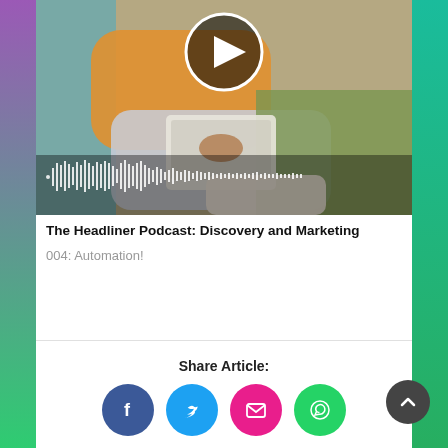[Figure (photo): Person sitting on grass wearing an orange sweater, holding a tablet/phone, with a podcast player overlay showing waveform and play button.]
The Headliner Podcast: Discovery and Marketing
004: Automation!
Share Article:
[Figure (infographic): Social share buttons: Facebook (blue circle with f), Twitter (cyan circle with bird), Email (pink circle with envelope), WhatsApp (green circle with phone icon). Dark grey scroll-up arrow button bottom right.]